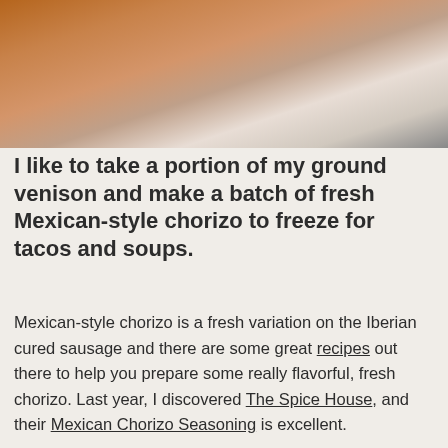[Figure (photo): Photo of vacuum-sealed package of ground meat (Mexican-style chorizo) in a rectangular tray on a dark background.]
I like to take a portion of my ground venison and make a batch of fresh Mexican-style chorizo to freeze for tacos and soups.
Mexican-style chorizo is a fresh variation on the Iberian cured sausage and there are some great recipes out there to help you prepare some really flavorful, fresh chorizo. Last year, I discovered The Spice House, and their Mexican Chorizo Seasoning is excellent.